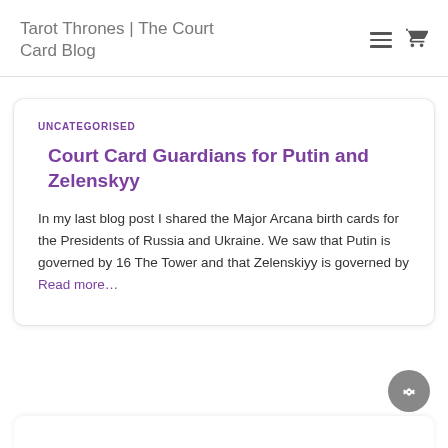Tarot Thrones | The Court Card Blog
UNCATEGORISED
Court Card Guardians for Putin and Zelenskyy
In my last blog post I shared the Major Arcana birth cards for the Presidents of Russia and Ukraine. We saw that Putin is governed by 16 The Tower and that Zelenskiyy is governed by Read more…